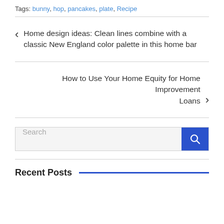Tags: bunny, hop, pancakes, plate, Recipe
Home design ideas: Clean lines combine with a classic New England color palette in this home bar
How to Use Your Home Equity for Home Improvement Loans
Search
Recent Posts